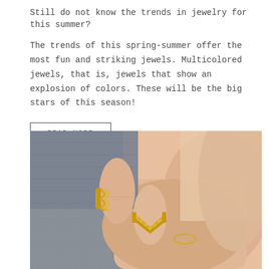Still do not know the trends in jewelry for this summer?
The trends of this spring-summer offer the most fun and striking jewels. Multicolored jewels, that is, jewels that show an explosion of colors. These will be the big stars of this season!
READ MORE
[Figure (photo): Close-up photo of a hand wearing two gold rings — one with a zigzag/lightning bolt design on the middle finger and one with a V-chevron design with small beads on the ring finger, set against a grey denim fabric background.]